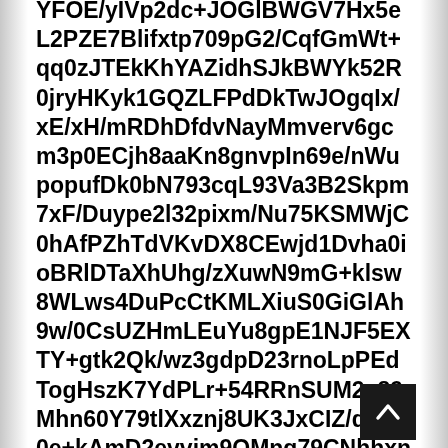YFOE/yIVp2dc+JOGlBWGV7Hx5eL2PZE7Blifxtp709pG2/CqfGmWt+qq0zJTEkKhYAZidhSJkBWYk52R0jryHKyk1GQZLFPdDkTwJOgqIx/xE/xH/mRDhDfdvNayMmverv6gcm3p0ECjh8aaKn8gnvpIn69e/nWupopufDk0bN793cqL93Va3B2Skpm7xF/Duype2l32pixm/Nu75KSMWjC0hAfPZhTdVKvDX8CEwjd1Dvha0ioBRlDTaXhUhg/zXuwN9mG+klsw8WLws4DuPcCtKMLXiuS0GiGlAh9w/0CsUZHmLEuYu8gpE1NJF5EXTY+gtk2Qk/wz3gdpD23rnoLpPEdTogHszK7YdPLr+54RRnSUM2v89Mhn60Y79tlXxznj8UK3JxCIZ/duk30e+kAmD2evvim9OMng79CNhhxnVxZkAhdMC8rRr0+4k1lOdrzob0stGcmbf1tNIUot1q023UlvH9RqgylDz/DI9FeEYzAvOkffI/2V/oGt9Fh0r/eiOmmJl0yIaKiXaet+9IWrbXrdpsgQjpgt47YgsE21T9FfwvepVwPmpSk48qHl480